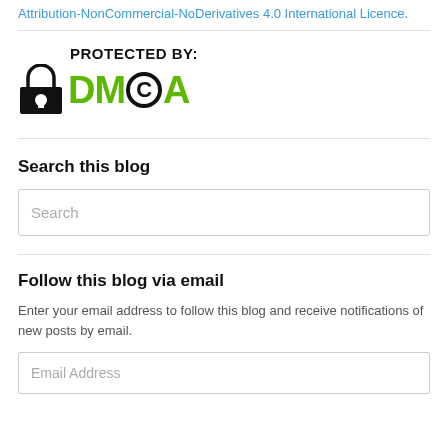Attribution-NonCommercial-NoDerivatives 4.0 International Licence.
[Figure (logo): DMCA Protected By logo with padlock icon and green DMCA text with copyright circle]
Search this blog
Search
Follow this blog via email
Enter your email address to follow this blog and receive notifications of new posts by email.
Email Address